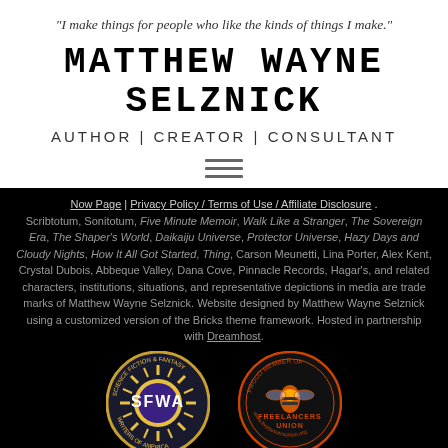“I make things for people who like the kinds of things I make.”
MATTHEW WAYNE SELZNICK
AUTHOR | CREATOR | CONSULTANT
[Figure (other): Hamburger menu icon (three horizontal lines)]
Now Page | Privacy Policy / Terms of Use / Affiliate Disclosure. Scribtotum, Sonitotum, Five Minute Memoir, Walk Like a Stranger, The Sovereign Era, The Shaper’s World, Daikaiju Universe, Protector Universe, Hazy Days and Cloudy Nights, How It All Got Started, Thing, Carson Meunetti, Lina Porter, Alex Kent, Crystal Dubois, Abbeque Valley, Dana Cove, Pinnacle Records, Hagar’s, and related characters, institutions, situations, and representative depictions in media are trade marks of Matthew Wayne Selznick. Website designed by Matthew Wayne Selznick using a customized version of the Bricks theme framework. Hosted in partnership with Dreamhost.
[Figure (logo): SFWA (Science Fiction & Fantasy Writers of America) circular badge logo]
[Figure (logo): Proud Member of Freelancers Union circular badge]